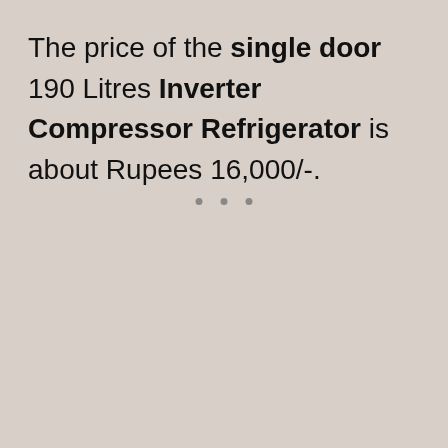The price of the single door 190 Litres Inverter Compressor Refrigerator is about Rupees 16,000/-.
[Figure (other): Amazon.in advertisement card for Samsung 255 L 3 Star Inverter refrigerator with Shop now button]